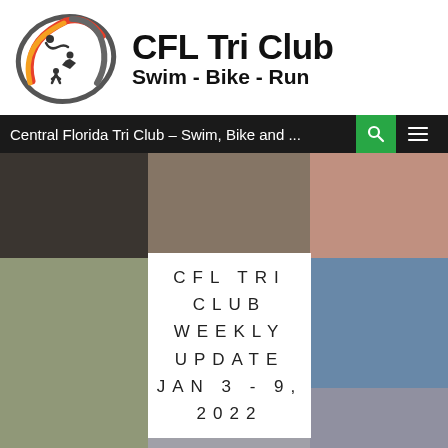[Figure (logo): CFL Tri Club logo with triathlete silhouettes inside an oval with orange, red, and gray swirls]
CFL Tri Club
Swim - Bike - Run
Central Florida Tri Club – Swim, Bike and ...
[Figure (photo): Website screenshot collage of triathlon photos — cyclists, runners, swimmers — with a white center card overlay reading CFL TRI CLUB WEEKLY UPDATE JAN 3 - 9, 2022]
CFL TRI CLUB
WEEKLY UPDATE
JAN 3 - 9, 2022